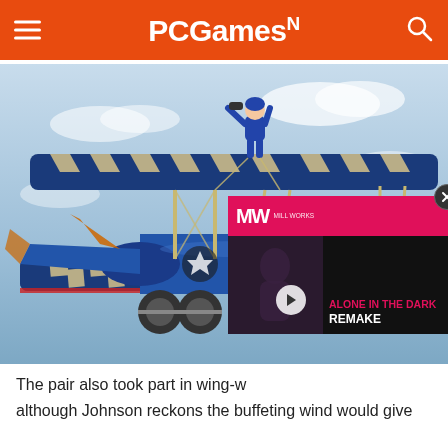PCGamesN
[Figure (photo): A person in a blue jumpsuit standing on top of a vintage biplane with checkered blue and white wing pattern, in flight against a cloudy sky. The biplane has a large radial engine. A video ad overlay for 'Alone in the Dark Remake' from Mill Works is visible in the lower right corner.]
The pair also took part in wing-w although Johnson reckons the buffeting wind would give
[Figure (screenshot): Mill Works video advertisement overlay showing 'Alone in the Dark Remake' with a play button and a person reacting dramatically]